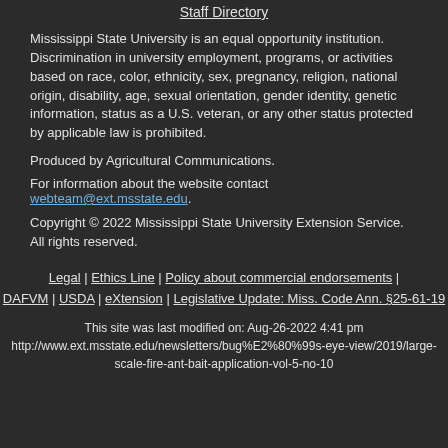Staff Directory
Mississippi State University is an equal opportunity institution. Discrimination in university employment, programs, or activities based on race, color, ethnicity, sex, pregnancy, religion, national origin, disability, age, sexual orientation, gender identity, genetic information, status as a U.S. veteran, or any other status protected by applicable law is prohibited.
Produced by Agricultural Communications.
For information about the website contact webteam@ext.msstate.edu.
Copyright © 2022 Mississippi State University Extension Service. All rights reserved.
Legal | Ethics Line | Policy about commercial endorsements | DAFVM | USDA | eXtension | Legislative Update: Miss. Code Ann. §25-61-19
This site was last modified on: Aug-26-2022 4:41 pm http://www.ext.msstate.edu/newsletters/bug%E2%80%99s-eye-view/2019/large-scale-fire-ant-bait-application-vol-5-no-10